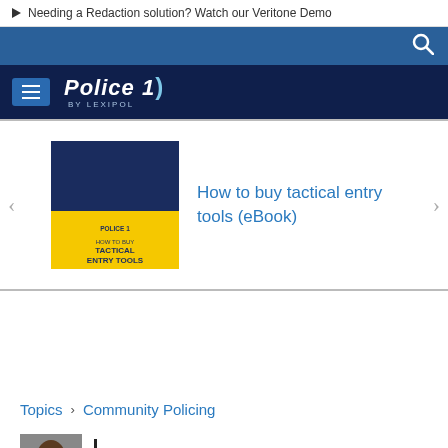▶ Needing a Redaction solution? Watch our Veritone Demo
[Figure (logo): Police1 by Lexipol logo with navigation bar on dark navy background and search icon on blue bar]
[Figure (screenshot): Promotional eBook banner: How to buy tactical entry tools (eBook) with book cover image]
Topics > Community Policing
Shaun Ward, D. Mgt.